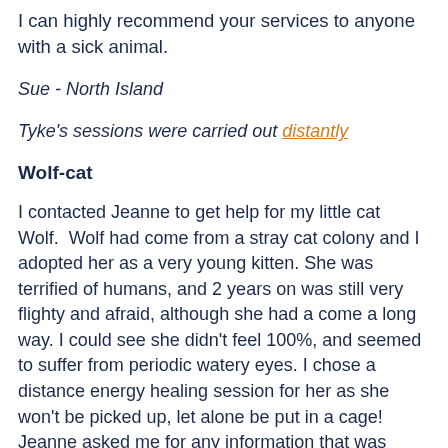I can highly recommend your services to anyone with a sick animal.
Sue - North Island
Tyke's sessions were carried out distantly
Wolf-cat
I contacted Jeanne to get help for my little cat Wolf.  Wolf had come from a stray cat colony and I adopted her as a very young kitten. She was terrified of humans, and 2 years on was still very flighty and afraid, although she had a come a long way. I could see she didn't feel 100%, and seemed to suffer from periodic watery eyes. I chose a distance energy healing session for her as she won't be picked up, let alone be put in a cage! Jeanne asked me for any information that was relevant for my little one and conducted a healing across 2 sessions.  I noticed an immediate shift in Wolf, a real softening and that fright & flight look disappeared. She seemed light, friendly and at ease.  Jeanne told me she really lived up to her